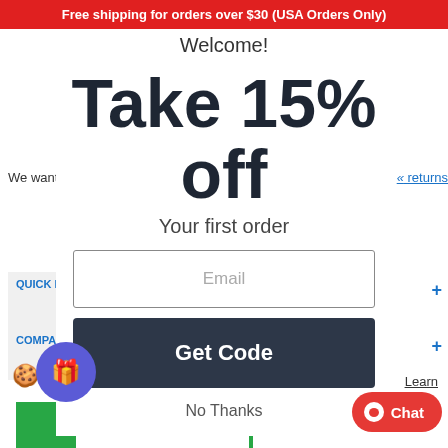Free shipping for orders over $30 (USA Orders Only)
Welcome!
Take 15% off
Your first order
Email
Get Code
No Thanks